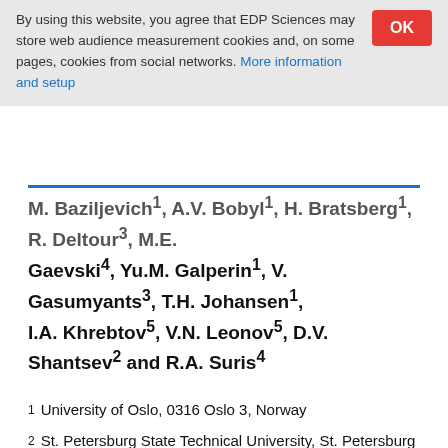By using this website, you agree that EDP Sciences may store web audience measurement cookies and, on some pages, cookies from social networks. More information and setup
M. Baziljevich1, A.V. Bobyl1, H. Bratsberg1, R. Deltour3, M.E. Gaevski4, Yu.M. Galperin1, V. Gasumyants3, T.H. Johansen1, I.A. Khrebtov5, V.N. Leonov5, D.V. Shantsev2 and R.A. Suris4
1  University of Oslo, 0316 Oslo 3, Norway
2  St. Petersburg State Technical University, St. Petersburg 195251, Russia
3  Université Libre de Bruxelles, 1050 Brusseles, Belgium
4  A.I. Ioffe Physical-Technical Institute, St. Petersburg 194021, Russia
5  S.I. Vavilov State Optical Institute, St. Petersburg 199034, Russia